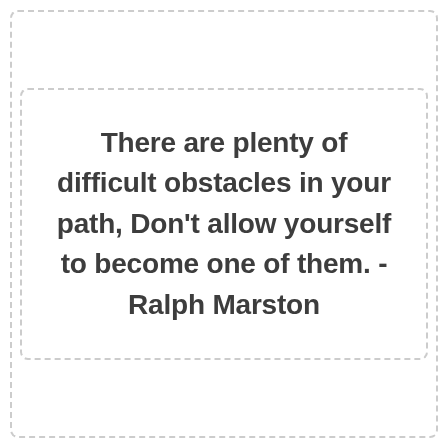There are plenty of difficult obstacles in your path, Don't allow yourself to become one of them. - Ralph Marston